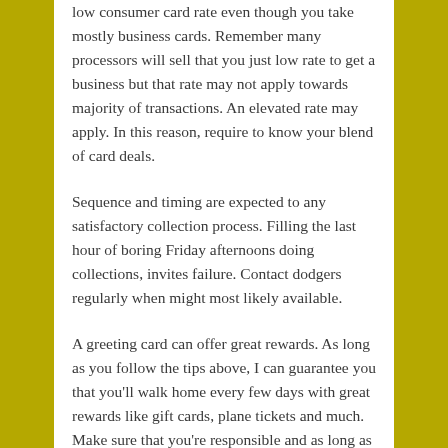low consumer card rate even though you take mostly business cards. Remember many processors will sell that you just low rate to get a business but that rate may not apply towards majority of transactions. An elevated rate may apply. In this reason, require to know your blend of card deals.
Sequence and timing are expected to any satisfactory collection process. Filling the last hour of boring Friday afternoons doing collections, invites failure. Contact dodgers regularly when might most likely available.
A greeting card can offer great rewards. As long as you follow the tips above, I can guarantee you that you'll walk home every few days with great rewards like gift cards, plane tickets and much. Make sure that you're responsible and as long as